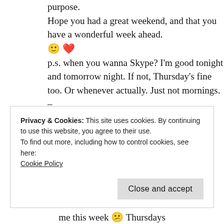purpose.
Hope you had a great weekend, and that you have a wonderful week ahead. 🙂 ❤
p.s. when you wanna Skype? I'm good tonight and tomorrow night. If not, Thursday's fine too. Or whenever actually. Just not mornings. – Blessings 🙂
Reply →
Privacy & Cookies: This site uses cookies. By continuing to use this website, you agree to their use.
To find out more, including how to control cookies, see here: Cookie Policy
Close and accept
me this week 😕 Thursdays